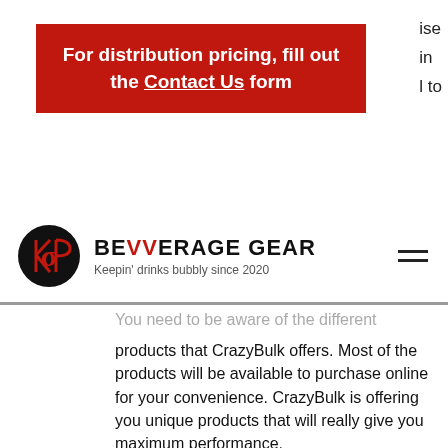[Figure (other): Red promotional banner: 'For distribution pricing, fill out the Contact Us form']
ise
in
l to
[Figure (logo): Bevverage Gear logo: black circle with stylized letters, brand name 'BEVVERAGE GEAR' and tagline 'Keepin' drinks bubbly since 2020']
You need to be aware of the different products that CrazyBulk offers. Most of the products will be available to purchase online for your convenience. CrazyBulk is offering you unique products that will really give you maximum performance.
I really liked this product, is there a cheaper product that will do the same thing.
All products sold on the "crazy bulk" website are exclusively for bodybuilders who are buying the products on our site...